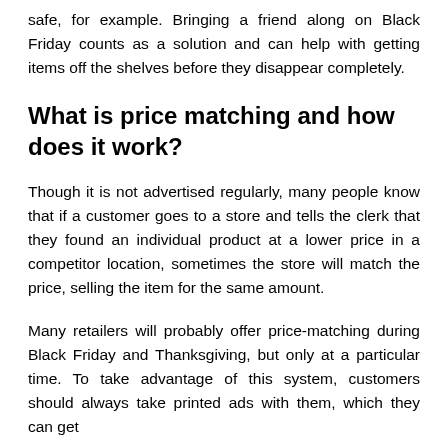safe, for example. Bringing a friend along on Black Friday counts as a solution and can help with getting items off the shelves before they disappear completely.
What is price matching and how does it work?
Though it is not advertised regularly, many people know that if a customer goes to a store and tells the clerk that they found an individual product at a lower price in a competitor location, sometimes the store will match the price, selling the item for the same amount.
Many retailers will probably offer price-matching during Black Friday and Thanksgiving, but only at a particular time. To take advantage of this system, customers should always take printed ads with them, which they can get